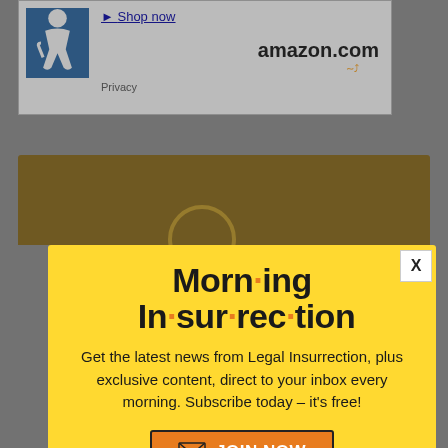[Figure (screenshot): Top advertisement banner with Amazon.com logo, accessibility icon, Shop now link, and Privacy text]
[Figure (screenshot): Background webpage content partially visible behind popup modal, showing dark gold/brown header bar]
Morn·ing In·sur·rec·tion
Get the latest news from Legal Insurrection, plus exclusive content, direct to your inbox every morning. Subscribe today – it's free!
[Figure (infographic): Orange JOIN NOW button with envelope icon inside yellow popup modal]
[Figure (screenshot): X close button for popup, white square with bold X]
[Figure (screenshot): Amazon smile bar partially visible below popup with large text and close X button]
[Figure (screenshot): Fiverr advertisement bar with Start Now green button, black background]